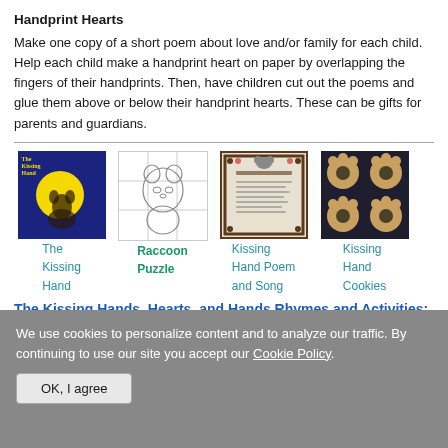Handprint Hearts
Make one copy of a short poem about love and/or family for each child. Help each child make a handprint heart on paper by overlapping the fingers of their handprints. Then, have children cut out the poems and glue them above or below their handprint hearts. These can be gifts for parents and guardians.
[Figure (illustration): Book cover: The Kissing Hand, dark blue background with yellow moon and raccoon silhouette]
The Kissing Hand
[Figure (illustration): Raccoon Puzzle line drawing coloring page]
Raccoon Puzzle
[Figure (illustration): Kissing Hand Poem and Song printable with decorative frame]
Kissing Hand Poem and Song
[Figure (photo): Kissing Hand Cookies - cookies shaped like bear paws on dark background]
Kissing Hand Cookies
The Kissing Hands, Hearts, and Hands Rhymes and Activities:
We use cookies to personalize content and to analyze our traffic. By continuing to use our site you accept our Cookie Policy.